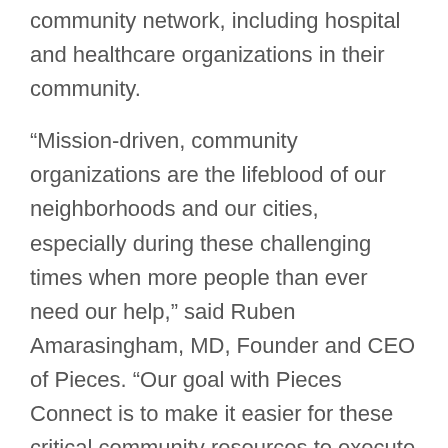community network, including hospital and healthcare organizations in their community.
“Mission-driven, community organizations are the lifeblood of our neighborhoods and our cities, especially during these challenging times when more people than ever need our help,” said Ruben Amarasingham, MD, Founder and CEO of Pieces. “Our goal with Pieces Connect is to make it easier for these critical community resources to execute their programs and maximize their impact— to serve even more clients and help more people help people.”